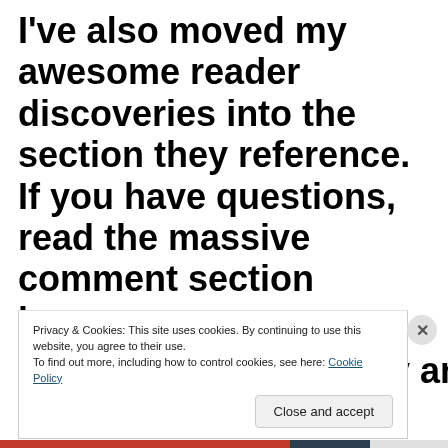I've also moved my awesome reader discoveries into the section they reference. If you have questions, read the massive comment section because someone has probably answered
Privacy & Cookies: This site uses cookies. By continuing to use this website, you agree to their use.
To find out more, including how to control cookies, see here: Cookie Policy